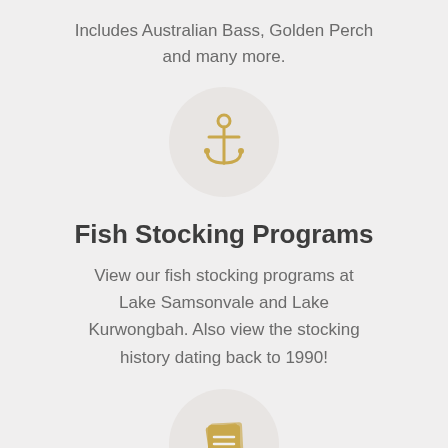Includes Australian Bass, Golden Perch and many more.
[Figure (illustration): Circular icon with an anchor symbol in golden/tan color on a light grey circle background]
Fish Stocking Programs
View our fish stocking programs at Lake Samsonvale and Lake Kurwongbah. Also view the stocking history dating back to 1990!
[Figure (illustration): Circular icon with a book/document symbol in golden/tan color on a light grey circle background]